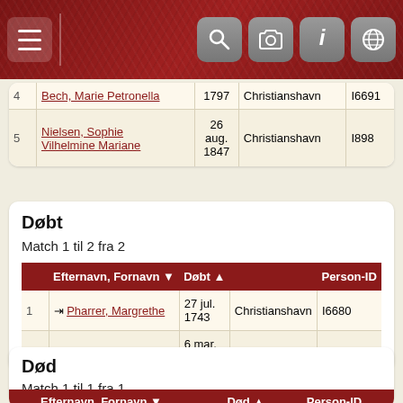[Figure (screenshot): Top navigation bar with hamburger menu and four icon buttons (search, camera, info, globe) on dark red textured background]
|  | Efternavn, Fornavn | Døbt |  | Person-ID |
| --- | --- | --- | --- | --- |
| 4 | Bech, Marie Petronella | 1797 | Christianshavn | I6691 |
| 5 | Nielsen, Sophie Vilhelmine Mariane | 26 aug. 1847 | Christianshavn | I898 |
Døbt
Match 1 til 2 fra 2
|  | Efternavn, Fornavn | Døbt |  | Person-ID |
| --- | --- | --- | --- | --- |
| 1 | Pharrer, Margrethe | 27 jul. 1743 | Christianshavn | I6680 |
| 2 | Rønne, Sophie | 6 mar. 1755 | Christianshavn | I6681 |
Død
Match 1 til 1 fra 1
|  | Efternavn, Fornavn | Død |  | Person-ID |
| --- | --- | --- | --- | --- |